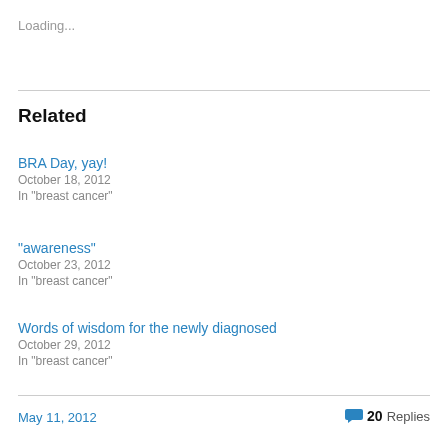Loading...
Related
BRA Day, yay!
October 18, 2012
In "breast cancer"
“awareness”
October 23, 2012
In "breast cancer"
Words of wisdom for the newly diagnosed
October 29, 2012
In "breast cancer"
May 11, 2012   20 Replies